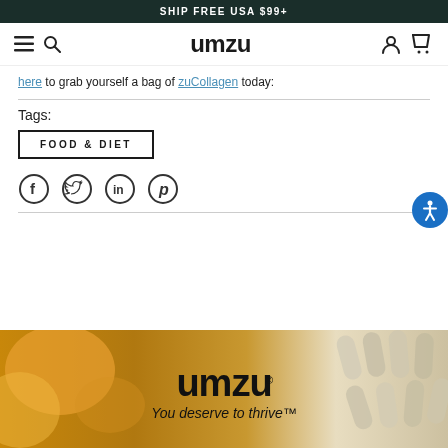SHIP FREE USA $99+
[Figure (screenshot): UMZU website navigation bar with hamburger menu, search icon, UMZU logo, account icon, and cart icon]
here to grab yourself a bag of zuCollagen today:
Tags:
FOOD & DIET
[Figure (other): Social sharing icons: Facebook, Twitter, LinkedIn, Pinterest]
[Figure (logo): UMZU logo with tagline: You deserve to thrive™]